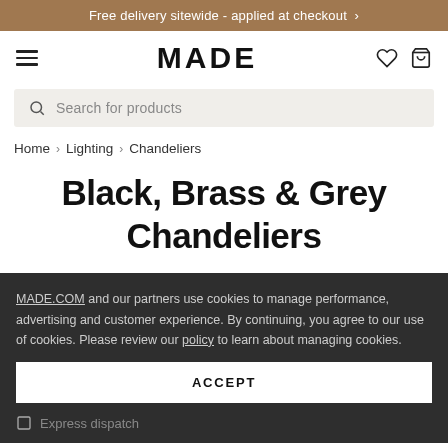Free delivery sitewide - applied at checkout >
[Figure (screenshot): MADE.COM navigation bar with hamburger menu, MADE logo, heart icon, and bag icon]
Search for products
Home > Lighting > Chandeliers
Black, Brass & Grey Chandeliers
MADE.COM and our partners use cookies to manage performance, advertising and customer experience. By continuing, you agree to our use of cookies. Please review our policy to learn about managing cookies.
ACCEPT
Express dispatch